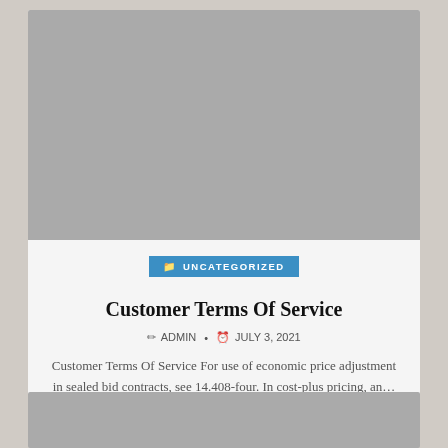[Figure (photo): Gray placeholder image for article thumbnail]
UNCATEGORIZED
Customer Terms Of Service
ADMIN • JULY 3, 2021
Customer Terms Of Service For use of economic price adjustment in sealed bid contracts, see 14.408-four. In cost-plus pricing, an...
[Figure (photo): Gray placeholder image for second article thumbnail]